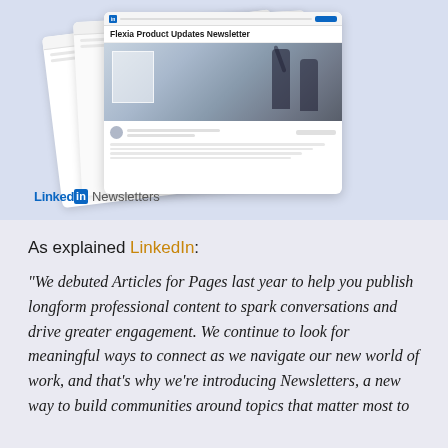[Figure (screenshot): Stack of LinkedIn Newsletter screenshots showing 'Flexia Product Updates Newsletter' with a photo of two people at a whiteboard, and a LinkedIn Newsletters label at the bottom left]
As explained LinkedIn:
“We debuted Articles for Pages last year to help you publish longform professional content to spark conversations and drive greater engagement. We continue to look for meaningful ways to connect as we navigate our new world of work, and that’s why we’re introducing Newsletters, a new way to build communities around topics that matter most to